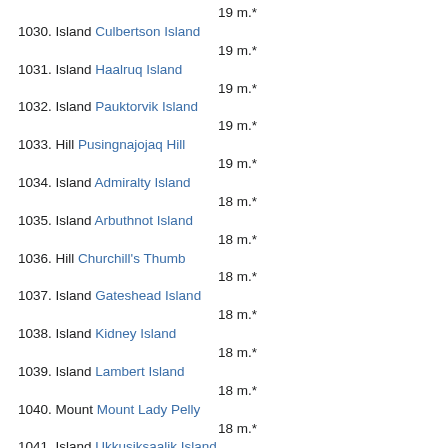19 m.*
1030. Island Culbertson Island
19 m.*
1031. Island Haalruq Island
19 m.*
1032. Island Pauktorvik Island
19 m.*
1033. Hill Pusingnajojaq Hill
19 m.*
1034. Island Admiralty Island
18 m.*
1035. Island Arbuthnot Island
18 m.*
1036. Hill Churchill's Thumb
18 m.*
1037. Island Gateshead Island
18 m.*
1038. Island Kidney Island
18 m.*
1039. Island Lambert Island
18 m.*
1040. Mount Mount Lady Pelly
18 m.*
1041. Island Ukkusiksaalik Island